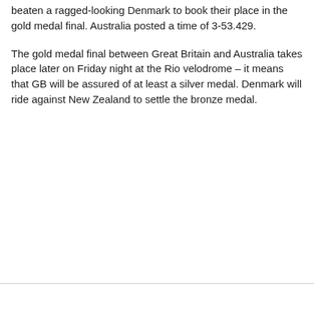beaten a ragged-looking Denmark to book their place in the gold medal final. Australia posted a time of 3-53.429.
The gold medal final between Great Britain and Australia takes place later on Friday night at the Rio velodrome – it means that GB will be assured of at least a silver medal. Denmark will ride against New Zealand to settle the bronze medal.